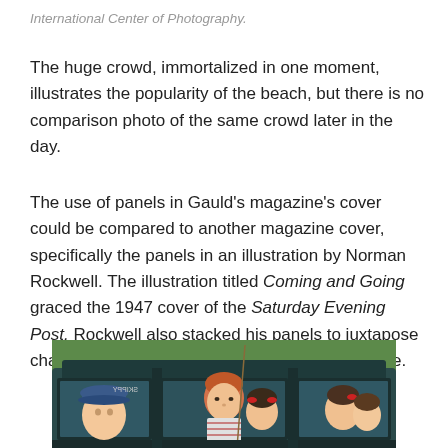International Center of Photography.
The huge crowd, immortalized in one moment, illustrates the popularity of the beach, but there is no comparison photo of the same crowd later in the day.
The use of panels in Gauld's magazine's cover could be compared to another magazine cover, specifically the panels in an illustration by Norman Rockwell.  The illustration titled Coming and Going graced the 1947 cover of the Saturday Evening Post. Rockwell also stacked his panels to juxtapose characters traveling to and from Bennington Lake.
[Figure (illustration): Norman Rockwell illustration showing children in a car, viewed through the car windows, with a red-haired boy in striped shirt visible prominently, and other children with hats and ribbons visible through windows.]